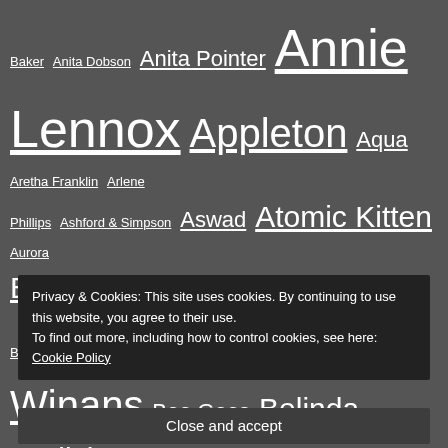Baker Anita Dobson Anita Pointer Annie Lennox Appleton Aqua Aretha Franklin Arlene Phillips Ashford & Simpson Aswad Atomic Kitten Aurora B*Witched Babylon Zoo Backstreet Boys Bad Boys Inc. Bananarama Banderas Barry Manilow Bassomatic BeBe Winans Bee Gees Belinda Carlisle Billie Piper Blazin' Squad Blue Blur Bobby Brown BodyRockers Bombalurina Boney M Bonnie Tyler Boy George Britney Spears Bros Brother Beyond Bryan Adams Bucks Fizz
Privacy & Cookies: This site uses cookies. By continuing to use this website, you agree to their use. To find out more, including how to control cookies, see here: Cookie Policy
Close and accept
Christina Aguilera Cilla Black Cher/Xtina/...